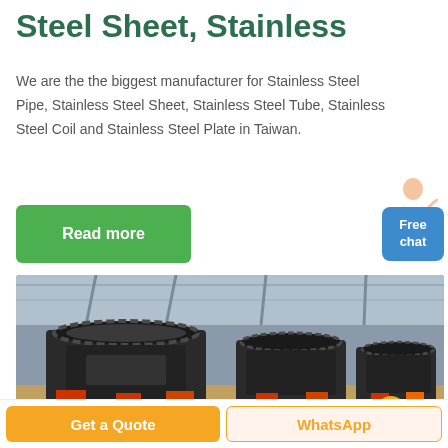Steel Sheet, Stainless
We are the the biggest manufacturer for Stainless Steel Pipe, Stainless Steel Sheet, Stainless Steel Tube, Stainless Steel Coil and Stainless Steel Plate in Taiwan.
Read more
Free chat
[Figure (photo): Industrial factory machinery — large cylindrical steel processing or rolling mill equipment with black metal components and red hydraulic/mechanical parts on the floor.]
Get a Quote
WhatsApp